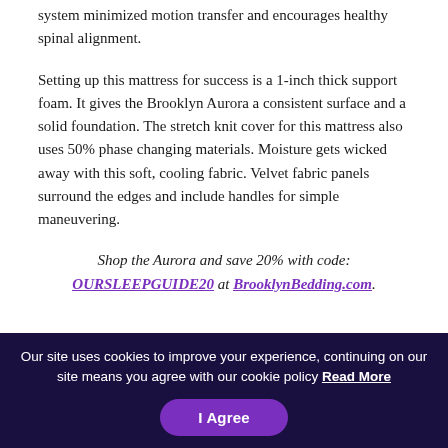system minimized motion transfer and encourages healthy spinal alignment.
Setting up this mattress for success is a 1-inch thick support foam. It gives the Brooklyn Aurora a consistent surface and a solid foundation. The stretch knit cover for this mattress also uses 50% phase changing materials. Moisture gets wicked away with this soft, cooling fabric. Velvet fabric panels surround the edges and include handles for simple maneuvering.
Shop the Aurora and save 20% with code: OURSLEEPGUIDE20 at BrooklynBedding.com.
Our site uses cookies to improve your experience, continuing on our site means you agree with our cookie policy Read More
I Agree